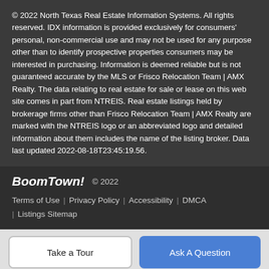© 2022 North Texas Real Estate Information Systems. All rights reserved. IDX information is provided exclusively for consumers' personal, non-commercial use and may not be used for any purpose other than to identify prospective properties consumers may be interested in purchasing. Information is deemed reliable but is not guaranteed accurate by the MLS or Frisco Relocation Team | AMX Realty. The data relating to real estate for sale or lease on this web site comes in part from NTREIS. Real estate listings held by brokerage firms other than Frisco Relocation Team | AMX Realty are marked with the NTREIS logo or an abbreviated logo and detailed information about them includes the name of the listing broker. Data last updated 2022-08-18T23:45:19.56.
BoomTown! © 2022
Terms of Use | Privacy Policy | Accessibility | DMCA | Listings Sitemap